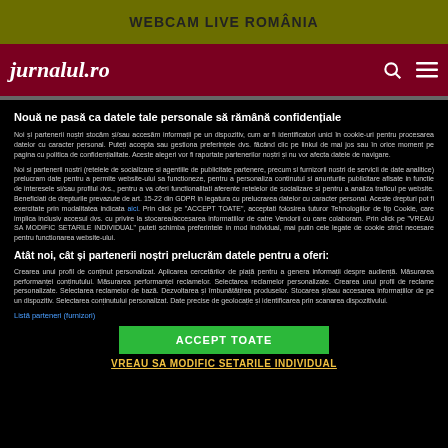WEBCAM LIVE ROMÂNIA
jurnalul.ro
Nouă ne pasă ca datele tale personale să rămână confidențiale
Noi și partenerii noștri stocăm și/sau accesăm informații pe un dispozitiv, cum ar fi identificatori unici în cookie-uri pentru procesarea datelor cu caracter personal. Puteți accepta sau gestiona preferințele dvs. făcând clic pe linkul de mai jos sau în orice moment pe pagina cu politica de confidențialitate. Aceste alegeri vor fi raportate partenerilor noștri și nu vor afecta datele de navigare.
Noi si partenerii nostri (retelele de socializare si agentiile de publicitate partenere, precum si furnizorii nostri de servicii de date analitice) prelucram date pentru a permite website-ului sa functioneze, pentru a personaliza continutul si anunturile publicitare afisate in functie de interesele si/sau profilul dvs., pentru a va oferi functionalitati aferente retelelor de socializare si pentru a analiza traficul pe website. Beneficiati de drepturile prevazute de art. 15-22 din GDPR in legatura cu prelucrarea datelor cu caracter personal. Aceste drepturi pot fi exercitate prin modalitatea indicata aici. Prin click pe "ACCEPT TOATE", acceptati folosirea tuturor Tehnologiilor de tip Cookie, care implica inclusiv accesul dvs. cu privire la stocarea/accesarea informatiilor de catre Vendorii cu care colaboram. Prin click pe "VREAU SA MODIFIC SETARILE INDIVIDUAL" puteti schimba preferintele in mod individual, mai putin cele legate de cookie strict necesare pentru functionarea website-ului.
Atât noi, cât și partenerii noștri prelucrăm datele pentru a oferi:
Crearea unui profil de conținut personalizat. Aplicarea cercetărilor de piață pentru a genera informații despre audiență. Măsurarea performanței conținutului. Măsurarea performanței reclamelor. Selectarea reclamelor personalizate. Crearea unui profil de reclame personalizate. Selectarea reclamelor de bază. Dezvoltarea și îmbunătățirea produselor. Stocarea și/sau accesarea informațiilor de pe un dispozitiv. Selectarea conținutului personalizat. Date precise de geolocație și identificarea prin scanarea dispozitivului.
Listă parteneri (furnizori)
ACCEPT TOATE
VREAU SA MODIFIC SETARILE INDIVIDUAL